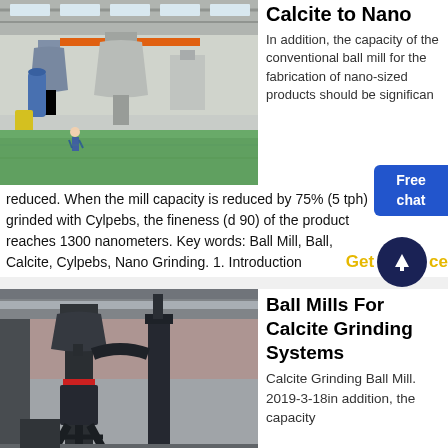[Figure (photo): Industrial factory interior with large cylindrical processing equipment, cyclone separators, green floor, overhead lighting]
Calcite to Nano
In addition, the capacity of the conventional ball mill for the fabrication of nano-sized products should be significantly reduced. When the mill capacity is reduced by 75% (5 tph) grinded with Cylpebs, the fineness (d 90) of the product reaches 1300 nanometers. Key words: Ball Mill, Ball, Calcite, Cylpebs, Nano Grinding. 1. Introduction
[Figure (photo): Dark industrial ball mill grinding machinery in a factory setting]
Ball Mills For Calcite Grinding Systems
Calcite Grinding Ball Mill. 2019-3-18in addition, the capacity